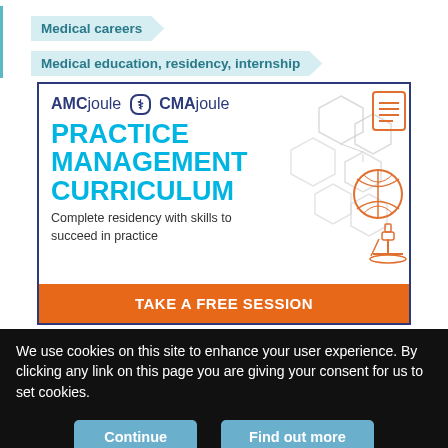Medical careers
Medical education, residency, internship
[Figure (infographic): AMCjoule CMAjoule advertisement banner for Practice Management Curriculum. Contains logos, large cyan text reading PRACTICE MANAGEMENT CURRICULUM, subtitle 'Complete residency with skills to succeed in practice', decorative hexagon/molecule/DNA/microscope icons in orange outline, and an orange CTA button 'TAKE A FREE SESSION'.]
We use cookies on this site to enhance your user experience. By clicking any link on this page you are giving your consent for us to set cookies.
Continue
Find out more